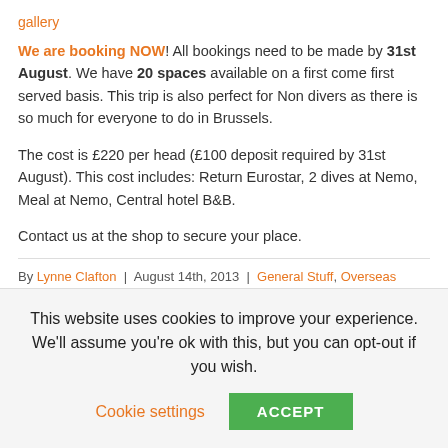gallery
We are booking NOW! All bookings need to be made by 31st August. We have 20 spaces available on a first come first served basis. This trip is also perfect for Non divers as there is so much for everyone to do in Brussels.
The cost is £220 per head (£100 deposit required by 31st August). This cost includes: Return Eurostar, 2 dives at Nemo, Meal at Nemo, Central hotel B&B.
Contact us at the shop to secure your place.
By Lynne Clafton | August 14th, 2013 | General Stuff, Overseas Trips, Social & Gossip, Uncategorized | 0 Comments
This website uses cookies to improve your experience. We'll assume you're ok with this, but you can opt-out if you wish. Cookie settings ACCEPT